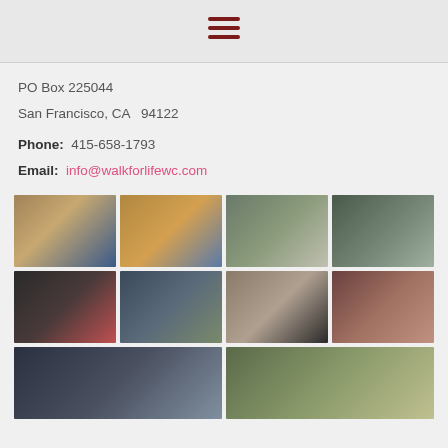≡ (hamburger menu icon)
PO Box 225044
San Francisco, CA  94122

Phone:  415-658-1793
Email:  info@walkforlifewc.com
[Figure (photo): Grid of 10 photos showing march/protest participants carrying signs at Walk for Life West Coast event in San Francisco]
MEDIA
(partial text below MEDIA heading, not fully visible)